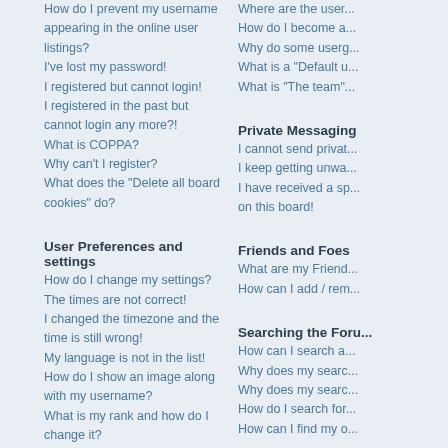How do I prevent my username appearing in the online user listings?
I've lost my password!
I registered but cannot login!
I registered in the past but cannot login any more?!
What is COPPA?
Why can't I register?
What does the "Delete all board cookies" do?
User Preferences and settings
How do I change my settings?
The times are not correct!
I changed the timezone and the time is still wrong!
My language is not in the list!
How do I show an image along with my username?
What is my rank and how do I change it?
When I click the e-mail link for a user it asks me to login?
Posting Issues
How do I post a topic in a forum?
How do I edit or delete a post?
How do I add a signature to my post?
How do I create a poll?
Why can't I add more poll options?
How do I edit or delete a poll?
Why can't I access a forum?
Why can't I add attachments?
Why did I receive a warning?
How can I report posts to a moderator?
Where are the user...
How do I become a...
Why do some userg...
What is a "Default u...
What is "The team"...
Private Messaging
I cannot send privat...
I keep getting unwa...
I have received a sp... on this board!
Friends and Foes
What are my Friend...
How can I add / rem...
Searching the Foru...
How can I search a...
Why does my searc...
Why does my searc...
How do I search for...
How can I find my o...
Topic Subscription...
What is the differe...
How do I subscribe...
How do I remove my...